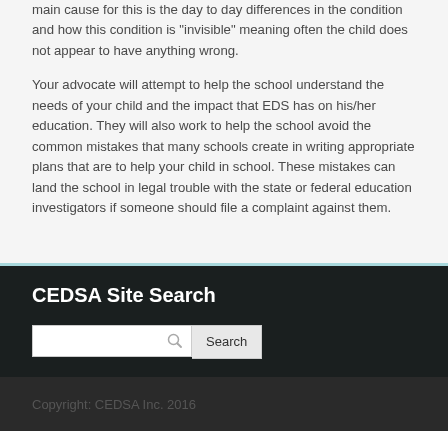main cause for this is the day to day differences in the condition and how this condition is "invisible" meaning often the child does not appear to have anything wrong.
Your advocate will attempt to help the school understand the needs of your child and the impact that EDS has on his/her education. They will also work to help the school avoid the common mistakes that many schools create in writing appropriate plans that are to help your child in school. These mistakes can land the school in legal trouble with the state or federal education investigators if someone should file a complaint against them.
CEDSA Site Search
Copyright: CEDSA Inc. 2016